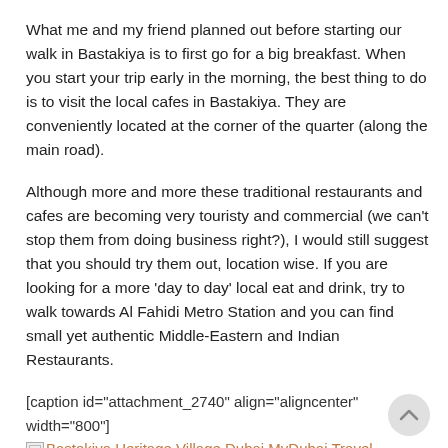What me and my friend planned out before starting our walk in Bastakiya is to first go for a big breakfast. When you start your trip early in the morning, the best thing to do is to visit the local cafes in Bastakiya. They are conveniently located at the corner of the quarter (along the main road).
Although more and more these traditional restaurants and cafes are becoming very touristy and commercial (we can't stop them from doing business right?), I would still suggest that you should try them out, location wise. If you are looking for a more 'day to day' local eat and drink, try to walk towards Al Fahidi Metro Station and you can find small yet authentic Middle-Eastern and Indian Restaurants.
[caption id="attachment_2740" align="aligncenter" width="800"] Bastakiya Heritage Village Dubai MyDubai Travel Wanderlust Travel Bug UAE Trip Tour food Local House Arabian Teahouse